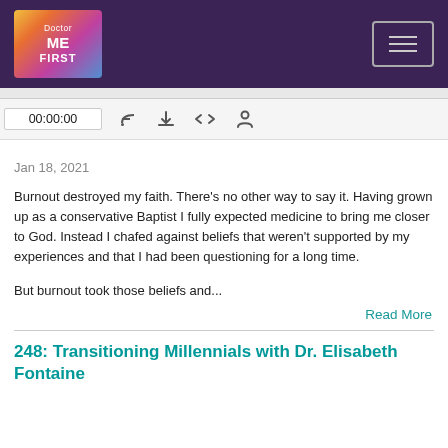[Figure (logo): Doctor ME FIRST podcast logo with colorful abstract background and white text]
[Figure (screenshot): Audio player bar showing time 00:00:00 and podcast control icons: RSS feed, download, embed code, and share]
Jan 18, 2021
Burnout destroyed my faith. There’s no other way to say it. Having grown up as a conservative Baptist I fully expected medicine to bring me closer to God. Instead I chafed against beliefs that weren't supported by my experiences and that I had been questioning for a long time.
But burnout took those beliefs and...
Read More
248: Transitioning Millennials with Dr. Elisabeth Fontaine